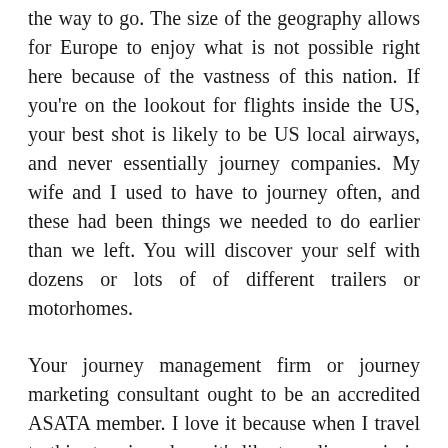the way to go. The size of the geography allows for Europe to enjoy what is not possible right here because of the vastness of this nation. If you're on the lookout for flights inside the US, your best shot is likely to be US local airways, and never essentially journey companies. My wife and I used to have to journey often, and these had been things we needed to do earlier than we left. You will discover your self with dozens or lots of of different trailers or motorhomes.
Your journey management firm or journey marketing consultant ought to be an accredited ASATA member. I love it because when I travel to this stunning place, it's like traveling again in time after which, as a result of as a passionate photographer, I all the time find great photo opportunities. This is a handful of properly-acquired